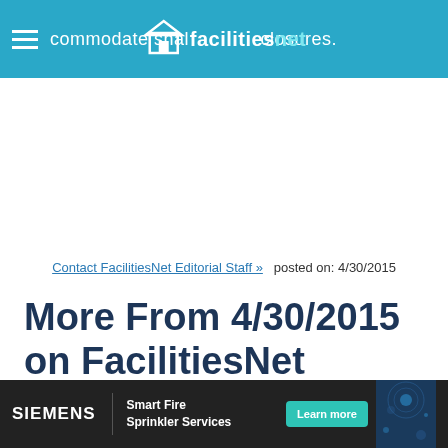accommodate shall have enclosures. [facilitiesnet logo]
Contact FacilitiesNet Editorial Staff »   posted on: 4/30/2015
More From 4/30/2015 on FacilitiesNet
Auto-Ranging
Sur-Gard IP-based
[Figure (infographic): Siemens advertisement banner: SIEMENS | Smart Fire Sprinkler Services — Learn more button with decorative background]